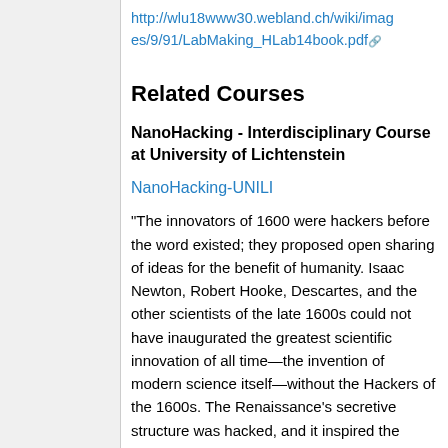http://wlu18www30.webland.ch/wiki/images/9/91/LabMaking_HLab14book.pdf
Related Courses
NanoHacking - Interdisciplinary Course at University of Lichtenstein
NanoHacking-UNILI
"The innovators of 1600 were hackers before the word existed; they proposed open sharing of ideas for the benefit of humanity. Isaac Newton, Robert Hooke, Descartes, and the other scientists of the late 1600s could not have inaugurated the greatest scientific innovation of all time—the invention of modern science itself—without the Hackers of the 1600s. The Renaissance's secretive structure was hacked, and it inspired the Scientific Revolution."